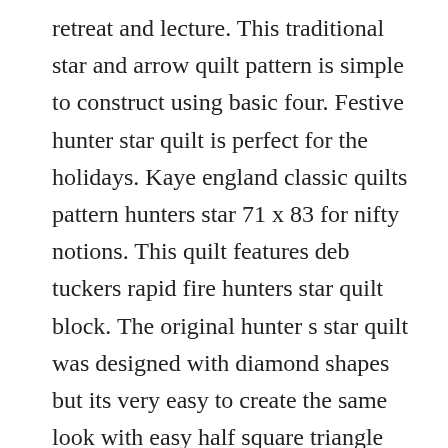retreat and lecture. This traditional star and arrow quilt pattern is simple to construct using basic four. Festive hunter star quilt is perfect for the holidays. Kaye england classic quilts pattern hunters star 71 x 83 for nifty notions. This quilt features deb tuckers rapid fire hunters star quilt block. The original hunter s star quilt was designed with diamond shapes but its very easy to create the same look with easy half square triangle units. Choose two fabrics of different colors, especially if they contrast, and a pinwheel will emerge.